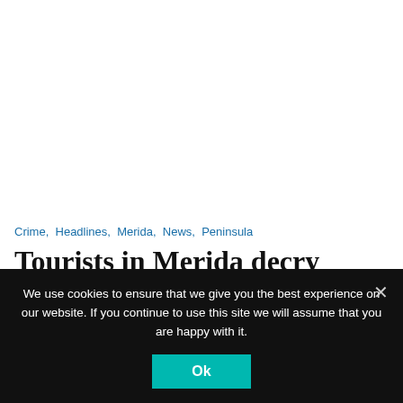Crime,  Headlines,  Merida,  News,  Peninsula
Tourists in Merida decry hawkers' persistence
We use cookies to ensure that we give you the best experience on our website. If you continue to use this site we will assume that you are happy with it.